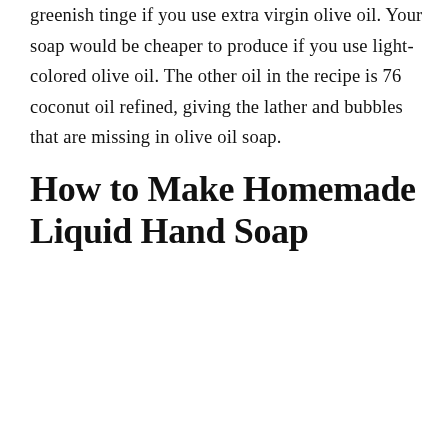greenish tinge if you use extra virgin olive oil. Your soap would be cheaper to produce if you use light-colored olive oil. The other oil in the recipe is 76 coconut oil refined, giving the lather and bubbles that are missing in olive oil soap.
How to Make Homemade Liquid Hand Soap